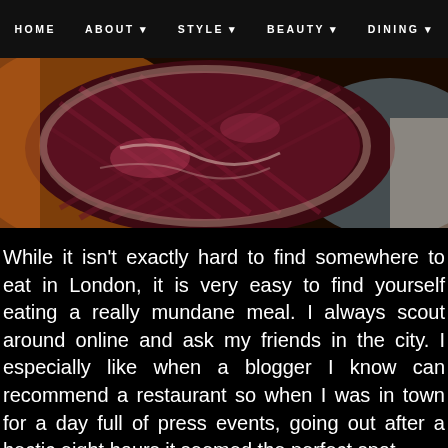HOME  ABOUT  STYLE  BEAUTY  DINING
[Figure (photo): Close-up photo of a dark red scored piece of meat or food item with a blurred orange and blue background]
While it isn't exactly hard to find somewhere to eat in London, it is very easy to find yourself eating a really mundane meal. I always scout around online and ask my friends in the city. I especially like when a blogger I know can recommend a restaurant so when I was in town for a day full of press events, going out after a hectic eight hours it seemed the perfect spot.
I headed to the Kensington location (they have 8 acr... sister and we were welcomed into a cosy front of ho...